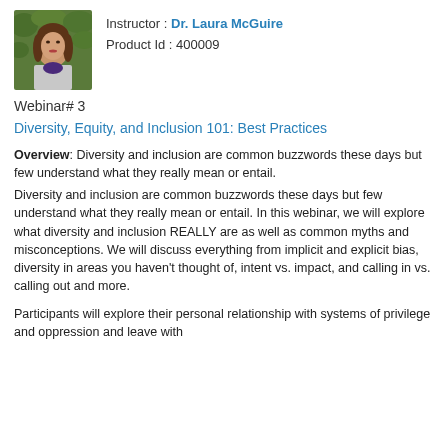[Figure (photo): Portrait photo of Dr. Laura McGuire, a woman with long brown hair, outdoors with green foliage background.]
Instructor : Dr. Laura McGuire
Product Id : 400009
Webinar# 3
Diversity, Equity, and Inclusion 101: Best Practices
Overview: Diversity and inclusion are common buzzwords these days but few understand what they really mean or entail.
Diversity and inclusion are common buzzwords these days but few understand what they really mean or entail. In this webinar, we will explore what diversity and inclusion REALLY are as well as common myths and misconceptions. We will discuss everything from implicit and explicit bias, diversity in areas you haven't thought of, intent vs. impact, and calling in vs. calling out and more.
Participants will explore their personal relationship with systems of privilege and oppression and leave with